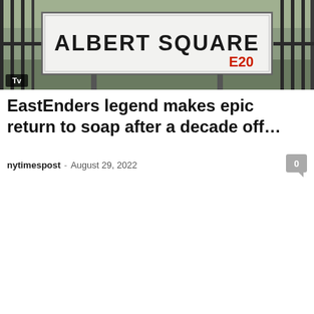[Figure (photo): Photo of an Albert Square E20 street sign mounted on iron railings with greenery in the background. A 'Tv' badge is overlaid in the bottom-left corner of the image.]
EastEnders legend makes epic return to soap after a decade off...
nytimespost - August 29, 2022